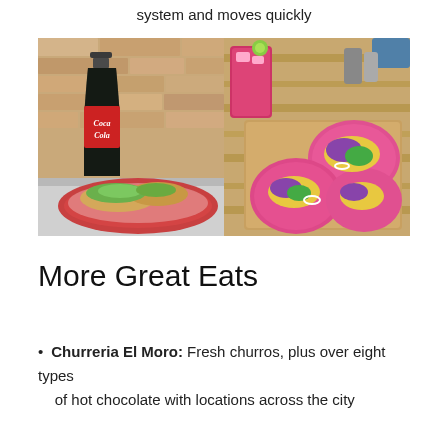system and moves quickly
[Figure (photo): Two food photos side by side: left shows tacos on a pink plate with a Coca-Cola bottle against a stone wall background; right shows colorful tacos on pink tortillas on a wooden table with a pink drink and condiments]
More Great Eats
Churreria El Moro: Fresh churros, plus over eight types of hot chocolate with locations across the city